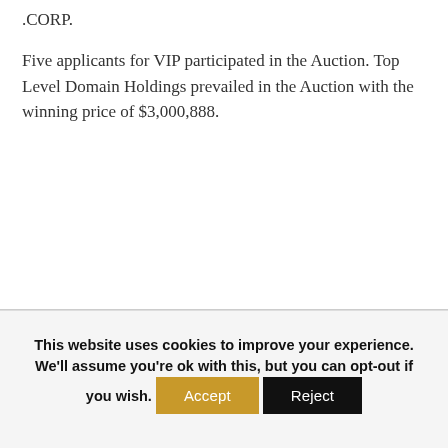.CORP.
Five applicants for VIP participated in the Auction. Top Level Domain Holdings prevailed in the Auction with the winning price of $3,000,888.
This website uses cookies to improve your experience. We'll assume you're ok with this, but you can opt-out if you wish. Accept Reject